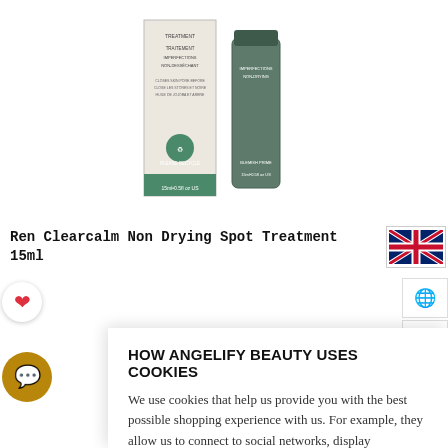[Figure (photo): Product photo of Ren Clearcalm Non Drying Spot Treatment 15ml — a cream-colored box and dark green tube]
Ren Clearcalm Non Drying Spot Treatment 15ml
HOW ANGELIFY BEAUTY USES COOKIES
We use cookies that help us provide you with the best possible shopping experience with us. For example, they allow us to connect to social networks, display personalised content, as well as analyse and improve the operation of our website.
ACCEPT ALL
COOKIE DETAILS